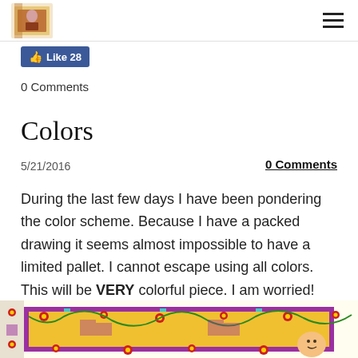[Logo image] [hamburger menu icon]
Like 28
0 Comments
Colors
5/21/2016
0 Comments
During the last few days I have been pondering the color scheme. Because I have a packed drawing it seems almost impossible to have a limited pallet. I cannot escape using all colors. This will be VERY colorful piece. I am worried!
[Figure (illustration): Colorful ornate folk art illustration with floral patterns, red flowers, yellow and purple decorative borders]